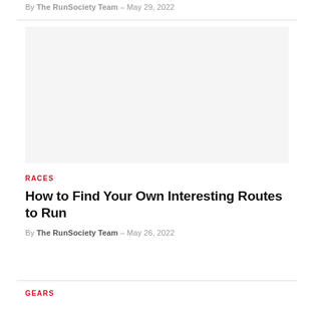By The RunSociety Team – May 29, 2022
[Figure (photo): Placeholder image area]
RACES
How to Find Your Own Interesting Routes to Run
By The RunSociety Team – May 26, 2022
GEARS